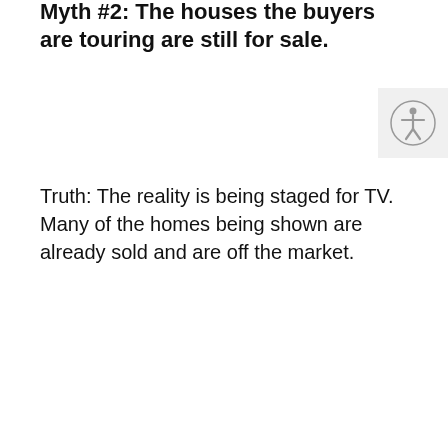Myth #2: The houses the buyers are touring are still for sale.
Truth: The reality is being staged for TV. Many of the homes being shown are already sold and are off the market.
Myth #3: The buyers haven't made a purchase decision yet.
Truth: Since there is no way to show the entire buying process in a 30-minute show, TV producers often choose buyers who are further along in the process and have already chosen a home.